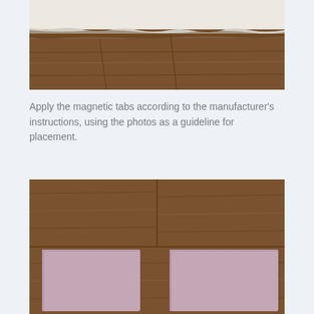[Figure (photo): Close-up photo showing the edge of a white/cream carpet or rug against a dark wood floor surface.]
Apply the magnetic tabs according to the manufacturer's instructions, using the photos as a guideline for placement.
[Figure (photo): Photo of two square pinkish-purple magnetic/velcro tabs placed on a dark wood floor surface.]